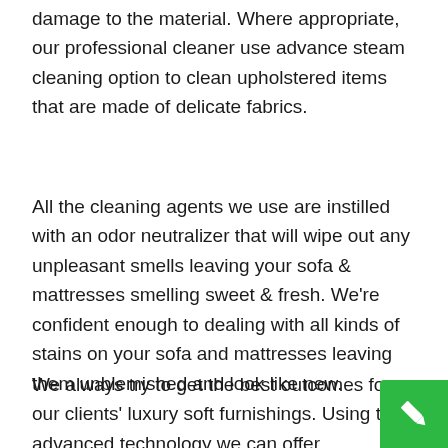damage to the material. Where appropriate, our professional cleaner use advance steam cleaning option to clean upholstered items that are made of delicate fabrics.
All the cleaning agents we use are instilled with an odor neutralizer that will wipe out any unpleasant smells leaving your sofa & mattresses smelling sweet & fresh. We're confident enough to dealing with all kinds of stains on your sofa and mattresses leaving them unblemished and look like new.
We always try to get the best outcomes for our clients' luxury soft furnishings. Using the advanced technology we can offer exceptional upholstery cleaning serv… Kensington. Our upholstery cleaning specialties in…